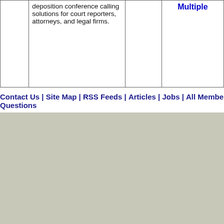|  | deposition conference calling solutions for court reporters, attorneys, and legal firms. |  | Multiple |
Contact Us | Site Map | RSS Feeds | Articles | Jobs | All Members | Popular Sea… Questions